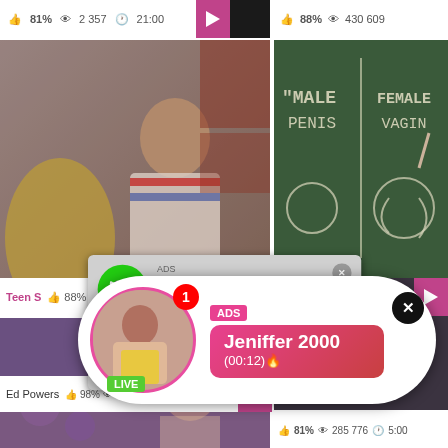81% · 2 357 · 21:00
88% · 430 609
[Figure (photo): Man in striped shirt in kitchen setting]
[Figure (photo): Chalkboard with MALE PENIS | FEMALE VAGINA written in chalk with diagram]
Teen S
88%
[Figure (infographic): Ad overlay: audio player showing missed call from Eliza. Green phone circle icon. ADS label. Title: (1)Missed Call from Eliza. Subtitle: pleeease call me back.. I miss you! Progress bar. Time: 0:00 / 3:23. Media controls: rewind, play, fast forward.]
[Figure (photo): Person with purple/dark background, selfie style]
[Figure (photo): Partial figure on right side]
Ed Powers
98% · 848 134 · 7:00
81% · 285 776 · 5:00
[Figure (infographic): Live notification ad: circular avatar with red notification badge (1), LIVE green badge. ADS label in pink. Name: Jeniffer 2000. Time: (00:12). Close X button.]